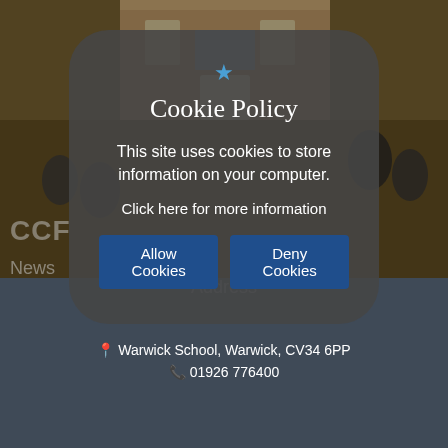[Figure (photo): Background photo of a school outdoor ceremony with people gathered in front of a brick building, partially obscured by a dark modal overlay]
Cookie Policy
This site uses cookies to store information on your computer.
Click here for more information
Allow Cookies
Deny Cookies
Address
Warwick School, Warwick, CV34 6PP
01926 776400